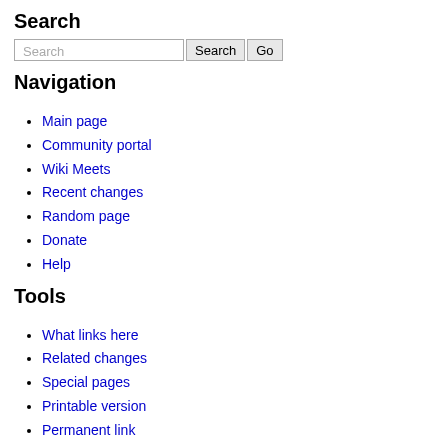Search
Search [input], Search [button], Go [button]
Navigation
Main page
Community portal
Wiki Meets
Recent changes
Random page
Donate
Help
Tools
What links here
Related changes
Special pages
Printable version
Permanent link
Page information
Original content on this site is released under the CC-BY-SA